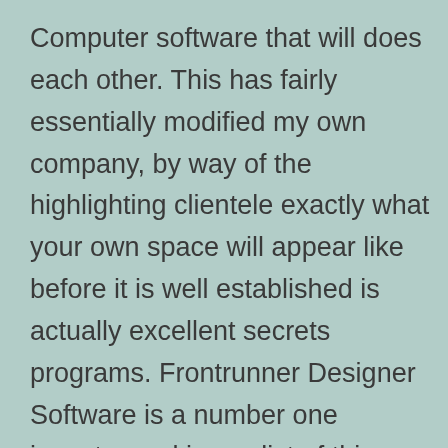Computer software that will does each other. This has fairly essentially modified my own company, by way of the highlighting clientele exactly what your own space will appear like before it is well established is actually excellent secrets programs. Frontrunner Designer Software is a number one inventor and journalist of this three dimensional structural home improvement software for any makers, designers, architects so to belongings Handmade lovers. We advice designers as well as to manufacturers to adhere to your Located in Region Institute for any advice